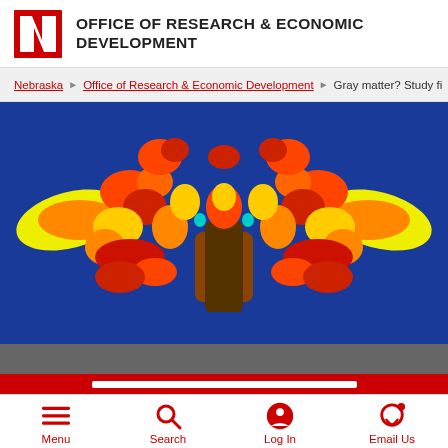OFFICE OF RESEARCH & ECONOMIC DEVELOPMENT
Nebraska > Office of Research & Economic Development > Gray matter? Study fi
[Figure (photo): A symmetrical brain scan heat map image showing colorized brain activity in blue, yellow, red, and orange tones against a blue background, resembling a Rorschach inkblot pattern.]
Menu | Search | Log In | Email Us